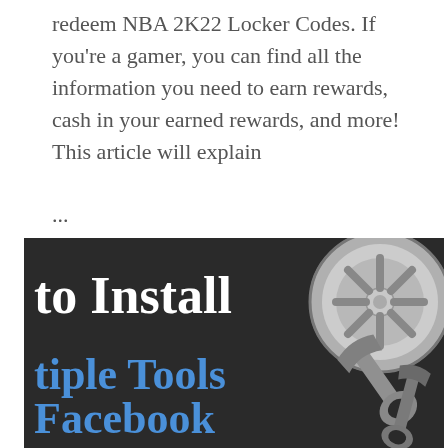redeem NBA 2K22 Locker Codes. If you're a gamer, you can find all the information you need to earn rewards, cash in your earned rewards, and more! This article will explain ...
[Figure (illustration): Dark slate background image with text overlaid. White bold serif text reads 'to Install' and blue bold serif text reads 'tiple Tools' and 'Facebook'. A metallic drain cover is visible in the upper right, and a wrench/tool is partially visible in the lower right.]